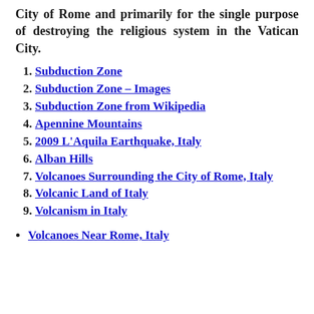City of Rome and primarily for the single purpose of destroying the religious system in the Vatican City.
Subduction Zone
Subduction Zone – Images
Subduction Zone from Wikipedia
Apennine Mountains
2009 L'Aquila Earthquake, Italy
Alban Hills
Volcanoes Surrounding the City of Rome, Italy
Volcanic Land of Italy
Volcanism in Italy
Volcanoes Near Rome, Italy